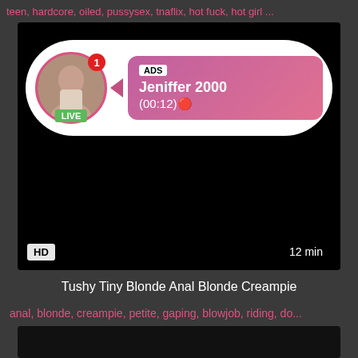teen, hardcore, oiled, pussysex, tnaflix, hot fuck, hot girl ...
[Figure (screenshot): Video player with ad overlay showing a live story notification. ADS label with user 'Jeniffer 2000', time (00:12), LIVE badge, avatar with notification badge. HD and 12 min labels on video.]
Tushy Tiny Blonde Anal Blonde Creampie
anal, blonde, creampie, petite, gaping, blowjob, riding, do...
[Figure (screenshot): Second video thumbnail, dark/black frame]